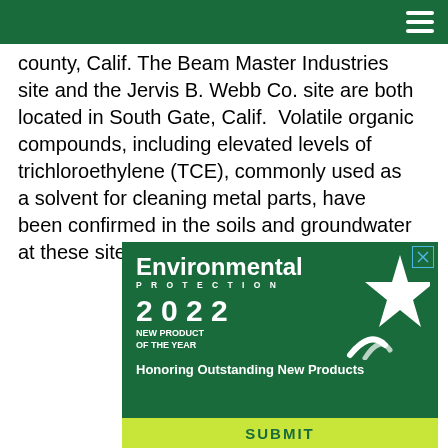[navigation bar with hamburger menu]
county, Calif. The Beam Master Industries site and the Jervis B. Webb Co. site are both located in South Gate, Calif. Volatile organic compounds, including elevated levels of trichloroethylene (TCE), commonly used as a solvent for cleaning metal parts, have been confirmed in the soils and groundwater at these sites.
[Figure (illustration): Advertisement for Environmental Protection 2022 New Product of the Year award. Green background with white star graphic. Text: 'Environmental PROTECTION 2 0 2 2 NEW PRODUCT OF THE YEAR Honoring Outstanding New Products SUBMIT'. Yellow-green SUBMIT bar at bottom.]